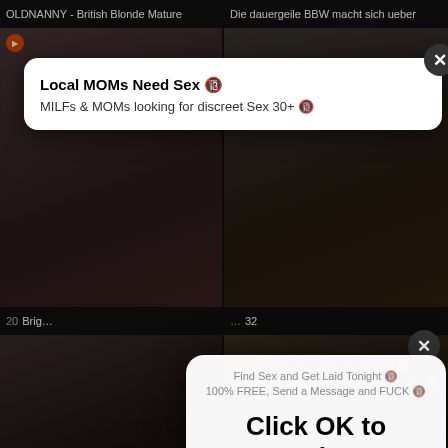OLDNANNY - British Blonde Mature
Die dauergeile BBW macht sich ueber
[Figure (screenshot): Video thumbnail grid showing adult video website with two popup/ad overlays and a modal dialog saying 'Click OK to Continue' with OK and Dismiss buttons. Multiple video thumbnails visible with dates and durations. Top-left cell shows 'OLDNANNY - British Blonde Mature', top-right 'Die dauergeile BBW macht sich ueber'. First ad popup: 'Local MOMs Need Sex / MILFs & MOMs looking for discreet Sex 30+'. Second popup text behind modal: 'Find Sex and Get Laid Tonight / 100% FREE, Send a Message and FUCK'. Modal dialog: 'Click OK to Continue' with OK and Dismiss buttons. Bottom cells: 'So bereitet man sich auf einen Swinger' (2021-03-26, 13:08) and 'Older Czech Mature Fucks in the Kitchen' (2021-03-16, 27:12).]
So bereitet man sich auf einen Swinger
Older Czech Mature Fucks in the Kitchen